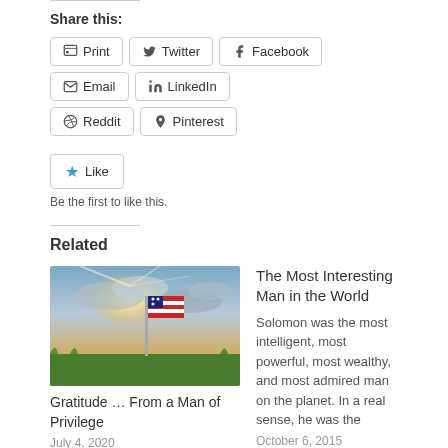Share this:
Print | Twitter | Facebook | Email | LinkedIn | Reddit | Pinterest (share buttons)
Like  Be the first to like this.
Related
[Figure (photo): American flag in a field with dramatic cloudy sky and sunlight]
Gratitude … From a Man of Privilege
July 4, 2020
In 'Gratitude'
The Most Interesting Man in the World
Solomon was the most intelligent, most powerful, most wealthy, and most admired man on the planet. In a real sense, he was the
October 6, 2015
In 'Fame'